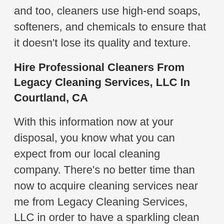and too, cleaners use high-end soaps, softeners, and chemicals to ensure that it doesn't lose its quality and texture.
Hire Professional Cleaners From Legacy Cleaning Services, LLC In Courtland, CA
With this information now at your disposal, you know what you can expect from our local cleaning company. There's no better time than now to acquire cleaning services near me from Legacy Cleaning Services, LLC in order to have a sparkling clean environment at home.
We are always there for you in Courtland and CA, whatever your cleaning requirements may be